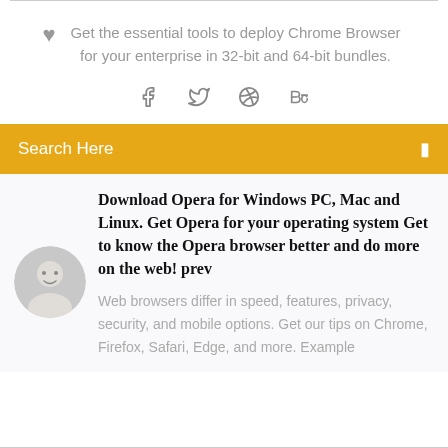Get the essential tools to deploy Chrome Browser for your enterprise in 32-bit and 64-bit bundles.
[Figure (infographic): Social media icons: Facebook (f), Twitter bird, Dribbble, Behance]
Search Here
Download Opera for Windows PC, Mac and Linux. Get Opera for your operating system Get to know the Opera browser better and do more on the web! prev
[Figure (photo): Avatar photo of a man, circular crop]
Web browsers differ in speed, features, privacy, security, and mobile options. Get our tips on Chrome, Firefox, Safari, Edge, and more. Example